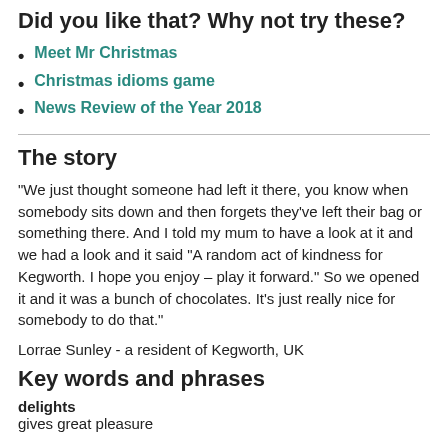Did you like that? Why not try these?
Meet Mr Christmas
Christmas idioms game
News Review of the Year 2018
The story
"We just thought someone had left it there, you know when somebody sits down and then forgets they've left their bag or something there. And I told my mum to have a look at it and we had a look and it said "A random act of kindness for Kegworth. I hope you enjoy – play it forward." So we opened it and it was a bunch of chocolates. It's just really nice for somebody to do that."
Lorrae Sunley - a resident of Kegworth, UK
Key words and phrases
delights
gives great pleasure